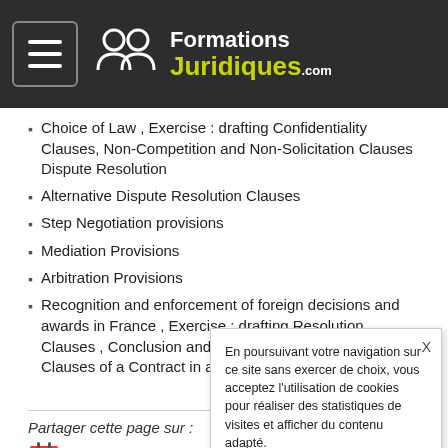[Figure (logo): Formations Juridiques .com logo with hamburger menu icon on dark background]
Choice of Law , Exercise : drafting Confidentiality Clauses, Non-Competition and Non-Solicitation Clauses Dispute Resolution
Alternative Dispute Resolution Clauses
Step Negotiation provisions
Mediation Provisions
Arbitration Provisions
Recognition and enforcement of foreign decisions and awards in France , Exercise : drafting Resolution Clauses , Conclusion and final exercise : drafting Main Clauses of a Contract in a specific sector of the industry
Partager cette page sur :
ICal
En poursuivant votre navigation sur ce site sans exercer de choix, vous acceptez l'utilisation de cookies pour réaliser des statistiques de visites et afficher du contenu adapté. En savoir plus Accepter Refuser
Découvre